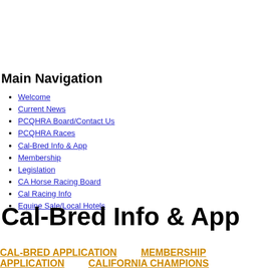Main Navigation
Welcome
Current News
PCQHRA Board/Contact Us
PCQHRA Races
Cal-Bred Info & App
Membership
Legislation
CA Horse Racing Board
Cal Racing Info
Equine Sale/Local Hotels
Cal-Bred Info & App
CAL-BRED APPLICATION   MEMBERSHIP APPLICATION   CALIFORNIA CHAMPIONS